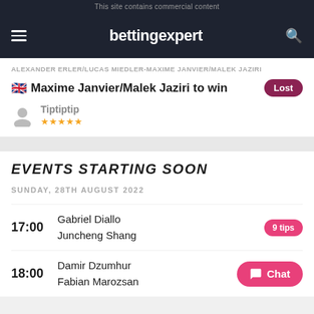This site contains commercial content
bettingexpert
ALEXANDER ERLER/LUCAS MIEDLER-MAXIME JANVIER/MALEK JAZIRI
Maxime Janvier/Malek Jaziri to win
Tiptiptip
EVENTS STARTING SOON
SUNDAY, 28TH AUGUST 2022
17:00 Gabriel Diallo Juncheng Shang 9 tips
18:00 Damir Dzumhur Fabian Marozsan Chat